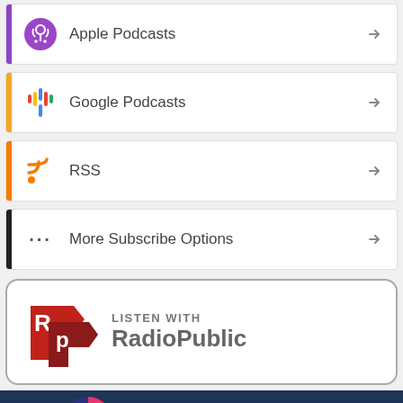Apple Podcasts
Google Podcasts
RSS
More Subscribe Options
[Figure (logo): RadioPublic listen badge — red RP logo with text LISTEN WITH RadioPublic]
[Figure (other): Dark navy footer bar with partial podcast circle logo and italic text Review us on]